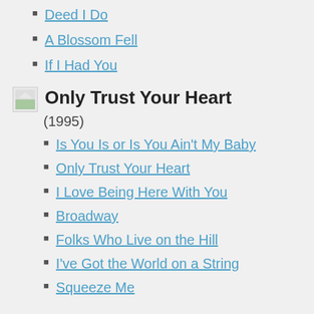Deed I Do
A Blossom Fell
If I Had You
Only Trust Your Heart
(1995)
Is You Is or Is You Ain't My Baby
Only Trust Your Heart
I Love Being Here With You
Broadway
Folks Who Live on the Hill
I've Got the World on a String
Squeeze Me